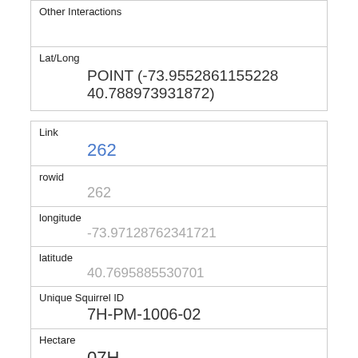| Other Interactions |  |
| Lat/Long | POINT (-73.9552861155228 40.788973931872) |
| Link | 262 |
| rowid | 262 |
| longitude | -73.97128762341721 |
| latitude | 40.7695885530701 |
| Unique Squirrel ID | 7H-PM-1006-02 |
| Hectare | 07H |
| Shift | PM |
| Date | 10062018 |